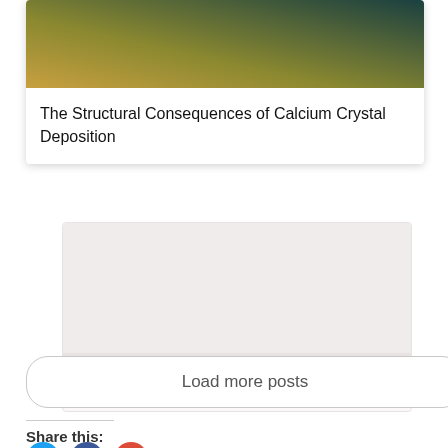[Figure (photo): Gradient colored abstract image used as article thumbnail, transitioning from orange/yellow at bottom-left to dark teal/green at top-right]
The Structural Consequences of Calcium Crystal Deposition
[Figure (photo): Partially visible second article card with a light pinkish-grey placeholder image]
Load more posts
Share this: